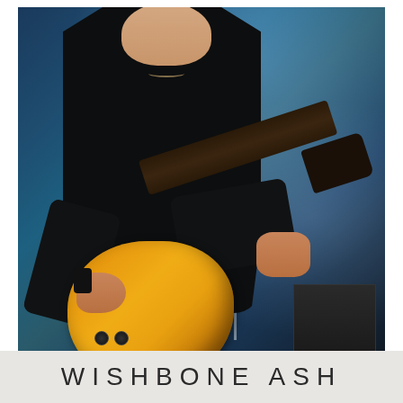[Figure (photo): Concert photograph of a guitarist (partially shown, head cropped at top) wearing a black shirt and playing a gold/amber Les Paul style electric guitar on stage. The stage is lit with blue atmospheric lighting and haze in the background. The guitarist wears wristbands and a necklace, and a red guitar strap is visible. A microphone stand and amplifier are visible in the background.]
WISHBONE ASH